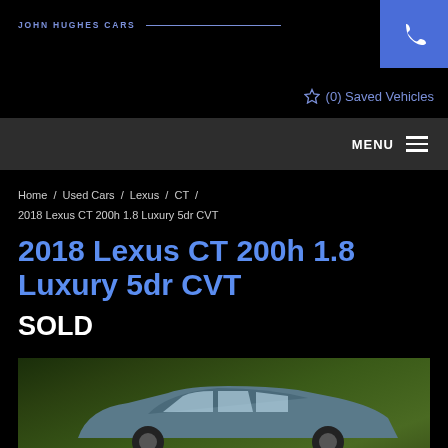JOHN HUGHES CARS
☆ (0) Saved Vehicles
MENU
Home / Used Cars / Lexus / CT / 2018 Lexus CT 200h 1.8 Luxury 5dr CVT
2018 Lexus CT 200h 1.8 Luxury 5dr CVT
SOLD
[Figure (photo): Photo of a Lexus CT car parked in front of green hedge/bushes]